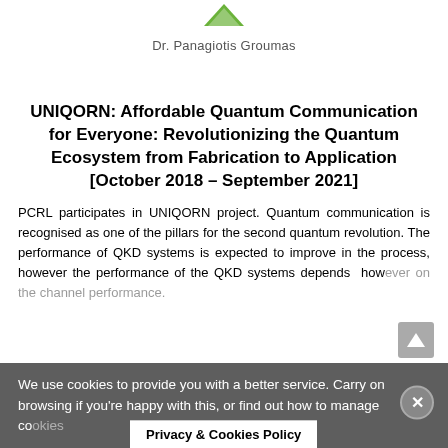[Figure (logo): Small green triangular logo/icon at top center]
Dr. Panagiotis Groumas
UNIQORN: Affordable Quantum Communication for Everyone: Revolutionizing the Quantum Ecosystem from Fabrication to Application [October 2018 – September 2021]
PCRL participates in UNIQORN project. Quantum communication is recognised as one of the pillars for the second quantum revolution. The performance of QKD systems is expected to improve in the process, however the performance of the QKD systems depends  however on the channel performance.